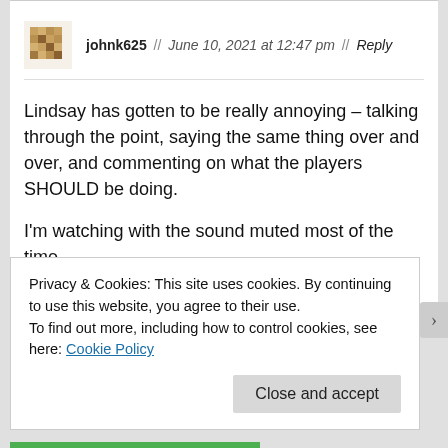[Figure (other): User avatar pixelated icon for johnk625]
johnk625 // June 10, 2021 at 12:47 pm // Reply
Lindsay has gotten to be really annoying – talking through the point, saying the same thing over and over, and commenting on what the players SHOULD be doing.

I'm watching with the sound muted most of the time.
★ Like
Privacy & Cookies: This site uses cookies. By continuing to use this website, you agree to their use.
To find out more, including how to control cookies, see here: Cookie Policy
Close and accept